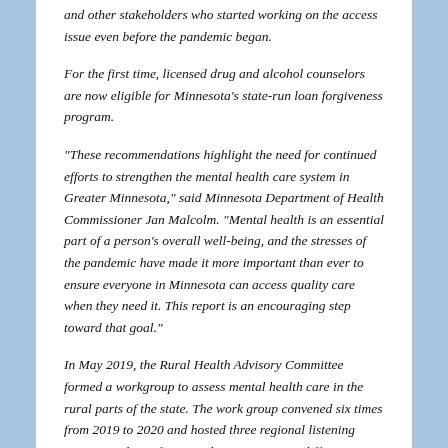and other stakeholders who started working on the access issue even before the pandemic began.
For the first time, licensed drug and alcohol counselors are now eligible for Minnesota's state-run loan forgiveness program.
“These recommendations highlight the need for continued efforts to strengthen the mental health care system in Greater Minnesota,” said Minnesota Department of Health Commissioner Jan Malcolm. “Mental health is an essential part of a person’s overall well-being, and the stresses of the pandemic have made it more important than ever to ensure everyone in Minnesota can access quality care when they need it. This report is an encouraging step toward that goal.”
In May 2019, the Rural Health Advisory Committee formed a workgroup to assess mental health care in the rural parts of the state. The work group convened six times from 2019 to 2020 and hosted three regional listening sessions to learn from rural communities in different parts of the state. Those in Greater Minnesota often lack access to critical mental health services, due in part to an insufficient mental health workforce with a